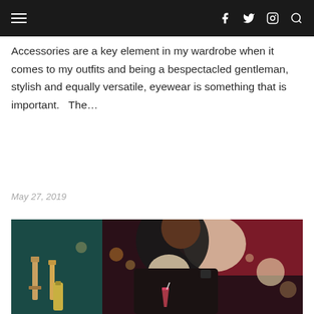Navigation bar with hamburger menu and social icons (Facebook, Twitter, Instagram, Search)
Accessories are a key element in my wardrobe when it comes to my outfits and being a bespectacled gentleman, stylish and equally versatile, eyewear is something that is important.   The…
May 27, 2019
[Figure (photo): A man in a dark jacket holding a cocktail drink at a bar, with beer taps and colorful lights in the background, set in a bar/nightclub environment with red and teal decor.]